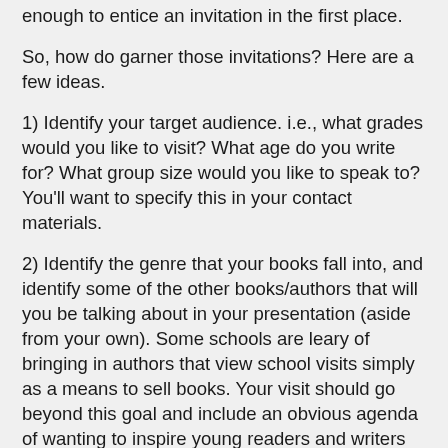enough to entice an invitation in the first place.
So, how do garner those invitations? Here are a few ideas.
1) Identify your target audience. i.e., what grades would you like to visit? What age do you write for? What group size would you like to speak to? You'll want to specify this in your contact materials.
2) Identify the genre that your books fall into, and identify some of the other books/authors that will you be talking about in your presentation (aside from your own). Some schools are leary of bringing in authors that view school visits simply as a means to sell books. Your visit should go beyond this goal and include an obvious agenda of wanting to inspire young readers and writers as a whole, coupled with the realization that not every student will be a fan of your genre and writing style (and that's okay).
3) Identify the core curriculum that your presentation supports. Exploring your state's core curriculum can help you identify how your presentation will supplement